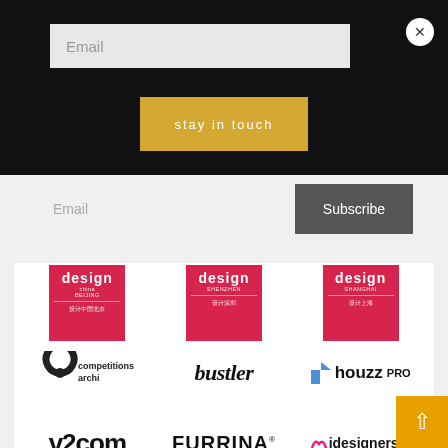[Figure (screenshot): Black overlay modal with email input field and 'stay in touch' yellow button, plus a close (X) button]
[Figure (screenshot): Email subscribe row with input field and Subscribe button]
[Figure (logo): Grid of partner/sponsor logos: Design China Beijing, Design Shenzhen, Design Shanghai, Competitions Archi, Bustler, Houzz PRO, v2com, FURRINA, Midesigners.eu, tdd tigullio design district, red circle logo, ARCH20]
[Figure (other): Orange scroll-to-top arrow button in bottom right]